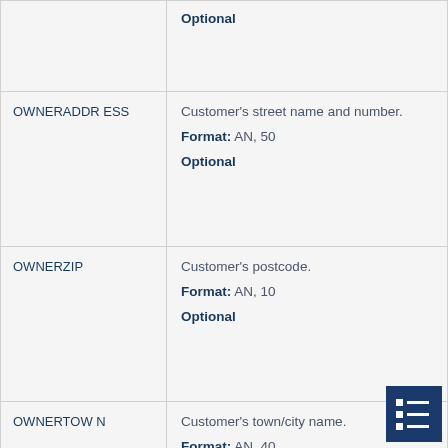| Field | Description |
| --- | --- |
|  | Optional |
| OWNERADDRESS | Customer's street name and number.

Format: AN, 50

Optional |
| OWNERZIP | Customer's postcode.

Format: AN, 10

Optional |
| OWNERTOWN | Customer's town/city name.

Format: AN, 40

Optional |